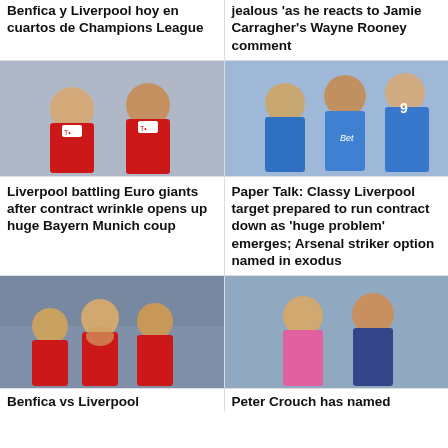Benfica y Liverpool hoy en cuartos de Champions League
jealous 'as he reacts to Jamie Carragher's Wayne Rooney comment
[Figure (photo): Two Bayern Munich players in red jerseys on a pitch]
[Figure (photo): Napoli players in blue jerseys celebrating]
Liverpool battling Euro giants after contract wrinkle opens up huge Bayern Munich coup
Paper Talk: Classy Liverpool target prepared to run contract down as 'huge problem' emerges; Arsenal striker option named in exodus
[Figure (photo): Liverpool players in red jerseys looking dejected]
[Figure (photo): Two men in England coaching staff attire smiling]
Benfica vs Liverpool
Peter Crouch has named